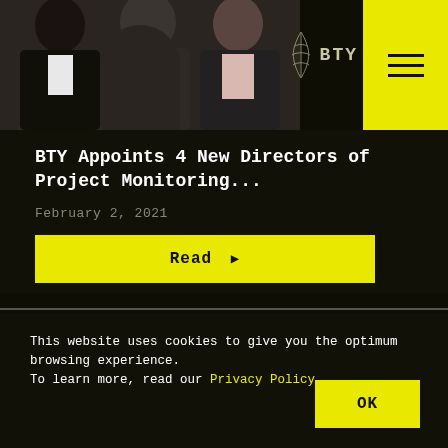[Figure (photo): Photo of multiple people in business attire]
[Figure (logo): BTY logo with stylized leaf icon, yellow navigation menu button with three horizontal lines]
BTY Appoints 4 New Directors of Project Monitoring...
February 2, 2021
Read ▶
This website uses cookies to give you the optimum browsing experience.
To learn more, read our Privacy Policy
OK